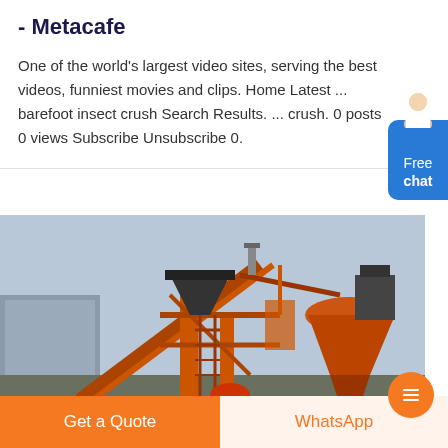- Metacafe
One of the world's largest video sites, serving the best videos, funniest movies and clips. Home Latest ... barefoot insect crush Search Results. ... crush. 0 posts 0 views Subscribe Unsubscribe 0.
[Figure (photo): Industrial heavy machinery plant with orange metal structures, conveyor belts, and large processing equipment against a pale sky with industrial buildings in background.]
Get a Quote
WhatsApp